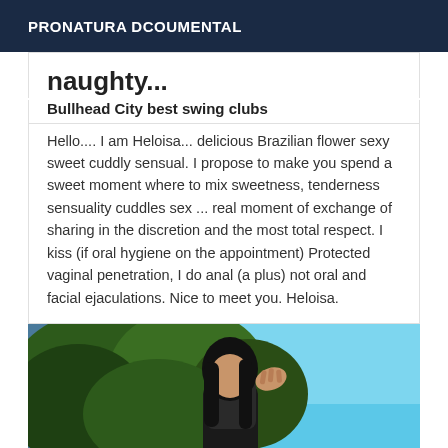PRONATURA DCOUMENTAL
naughty...
Bullhead City best swing clubs
Hello.... I am Heloisa... delicious Brazilian flower sexy sweet cuddly sensual. I propose to make you spend a sweet moment where to mix sweetness, tenderness sensuality cuddles sex ... real moment of exchange of sharing in the discretion and the most total respect. I kiss (if oral hygiene on the appointment) Protected vaginal penetration, I do anal (a plus) not oral and facial ejaculations. Nice to meet you. Heloisa.
[Figure (photo): A woman with dark hair standing outdoors in front of trees with a blue sky background. Someone's hand is visible near her hair.]